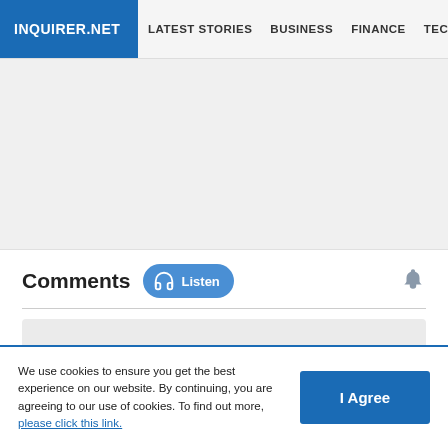INQUIRER.NET | LATEST STORIES | BUSINESS | FINANCE | TECHNOLO
[Figure (other): Gray advertisement/banner placeholder area]
Comments
[Figure (other): Comment input box gray placeholder area]
We use cookies to ensure you get the best experience on our website. By continuing, you are agreeing to our use of cookies. To find out more, please click this link.